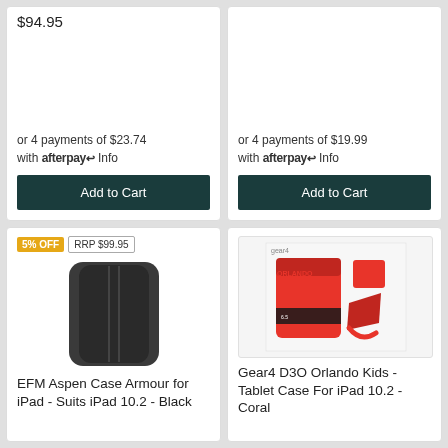$94.95
or 4 payments of $23.74 with afterpay Info
Add to Cart
or 4 payments of $19.99 with afterpay Info
Add to Cart
5% OFF  RRP $99.95
[Figure (photo): EFM Aspen Case Armour for iPad - black tablet case with three vertical ridges]
EFM Aspen Case Armour for iPad - Suits iPad 10.2 - Black
[Figure (photo): Gear4 D3O Orlando Kids Tablet Case for iPad 10.2 in Coral/red color, product box packaging shown]
Gear4 D3O Orlando Kids - Tablet Case For iPad 10.2 - Coral